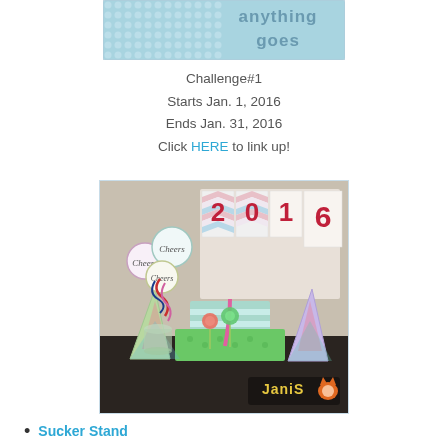[Figure (other): Banner graphic with text 'anything goes' on a light blue dotted background]
Challenge#1
Starts Jan. 1, 2016
Ends Jan. 31, 2016
Click HERE to link up!
[Figure (photo): New Year 2016 party craft items: party hats, a 2016 banner, a box, sucker stand, and lollipops with ribbon, watermarked 'Janis']
Sucker Stand